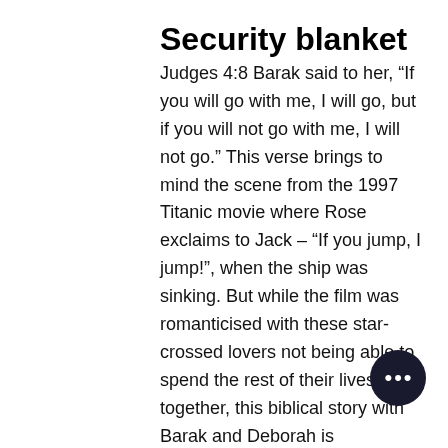Security blanket
Judges 4:8 Barak said to her, “If you will go with me, I will go, but if you will not go with me, I will not go.” This verse brings to mind the scene from the 1997 Titanic movie where Rose exclaims to Jack – “If you jump, I jump!”, when the ship was sinking. But while the film was romanticised with these star-crossed lovers not being able to spend the rest of their lives together, this biblical story with Barak and Deborah is something else altogether.
Barak was tasked to take 10,000 men to fight Sisera. The divine instructions came through